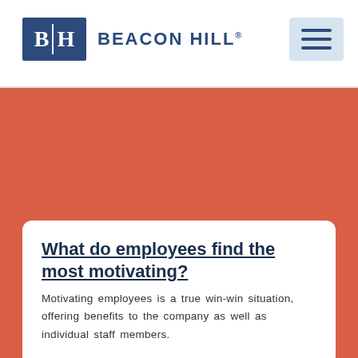BEACON HILL®
What do employees find the most motivating?
Motivating employees is a true win-win situation, offering benefits to the company as well as individual staff members.